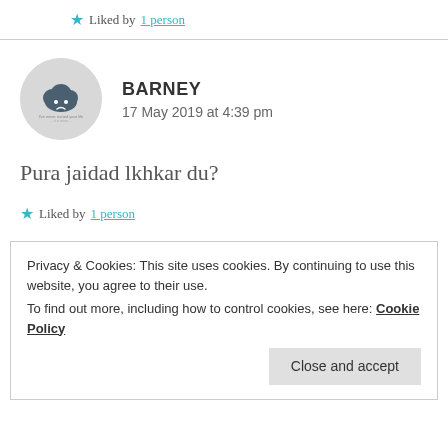Liked by 1 person
[Figure (illustration): Circular grey avatar with cloud/emoji icon and small text]
BARNEY
17 May 2019 at 4:39 pm
Pura jaidad lkhkar du?
Liked by 1 person
Privacy & Cookies: This site uses cookies. By continuing to use this website, you agree to their use.
To find out more, including how to control cookies, see here: Cookie Policy
Close and accept